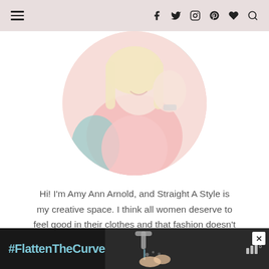Navigation header with menu icon, social icons (Facebook, Twitter, Instagram, Pinterest, Heart, Search)
[Figure (photo): Circular cropped photo of a smiling blonde woman wearing a pink outfit, waving her hand, with a watch on her wrist. Photo has faded/soft tones in pinks and teals.]
Hi! I'm Amy Ann Arnold, and Straight A Style is my creative space. I think all women deserve to feel good in their clothes and that fashion doesn't have to cost a fortune. I hope you enjoy and come back often.
[Figure (screenshot): Dark advertisement banner at the bottom showing '#FlattenTheCurve' in teal/blue text, with an image of hands washing under a faucet, a close (X) button, and a logo icon on the right.]